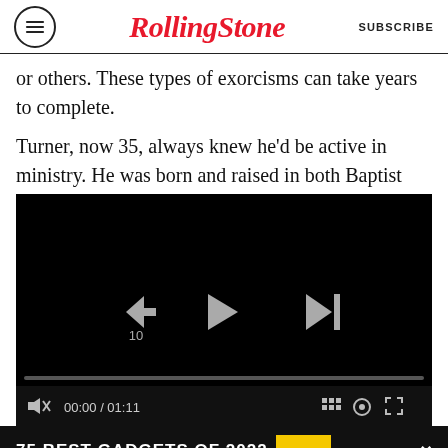RollingStone | SUBSCRIBE
or others. These types of exorcisms can take years to complete.
Turner, now 35, always knew he'd be active in ministry. He was born and raised in both Baptist
[Figure (screenshot): Embedded video player with dark background, playback controls (rewind 10s, play, skip), progress bar, mute, time display 00:00 / 01:11, and bottom toolbar icons]
75 BEST GADGETS OF 2022